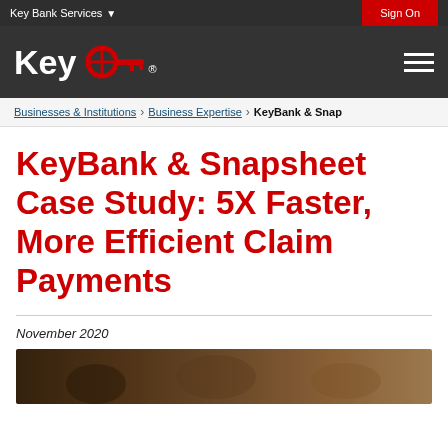Key Bank Services   Sign On
[Figure (logo): KeyBank logo with red key icon on dark background, hamburger menu icon on right]
Businesses & Institutions > Business Expertise > KeyBank & Snap
KeyBank & Snapsheet Case Study: 5X Faster, More Efficient Claim Payments
November 2020
[Figure (photo): Outdoor photo strip showing people in a natural/wooded setting]